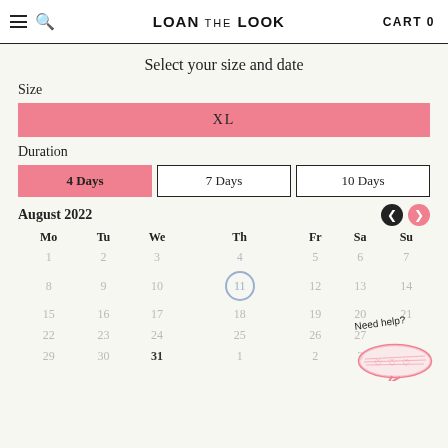LOAN THE LOOK   CART 0
Select your size and date
Size
XL
Duration
4 Days   7 Days   10 Days
August 2022
[Figure (other): Monthly calendar for August 2022 with days Mo Tu We Th Fr Sa Su. Day 11 is highlighted with a blue circle. Day 31 is bold. Navigation arrows (back dark circle, forward pink circle) at top right.]
[Figure (illustration): Handwritten 'Need help?' text with a pink speech bubble containing three hearts drawn below.]